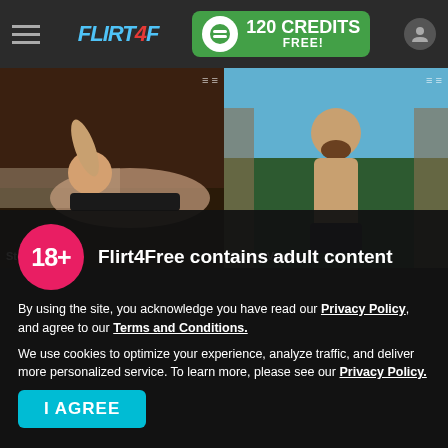FLIRT4FREE — 120 CREDITS FREE!
[Figure (screenshot): Two photo thumbnails: left shows a young man reclining on a bed (StefanBaker), right shows a bearded man outdoors (DereckVega)]
StefanBaker
DereckVega
Flirt4Free contains adult content
By using the site, you acknowledge you have read our Privacy Policy, and agree to our Terms and Conditions.
We use cookies to optimize your experience, analyze traffic, and deliver more personalized service. To learn more, please see our Privacy Policy.
I AGREE